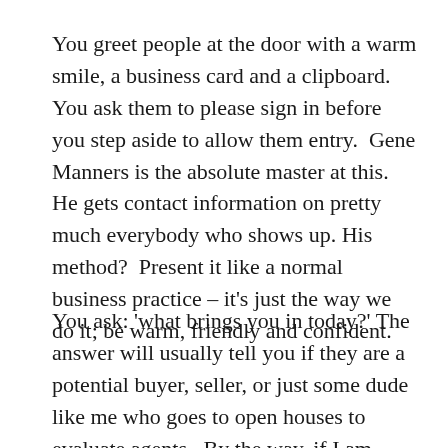You greet people at the door with a warm smile, a business card and a clipboard.  You ask them to please sign in before you step aside to allow them entry.  Gene Manners is the absolute master at this. He gets contact information on pretty much everybody who shows up. His method?  Present it like a normal business practice – it's just the way we do it; be warm, friendly and confident.
You ask: 'what brings you in today?' The answer will usually tell you if they are a potential buyer, seller, or just some dude like me who goes to open houses to evaluate agents.  By the way, if I am asked – which I